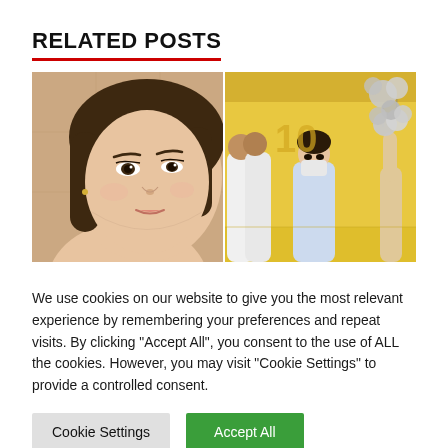RELATED POSTS
[Figure (photo): Two side-by-side photos: left photo shows a close-up selfie of a young Asian woman with short brown hair; right photo shows people in a yellow-walled room with silver balloon decorations, one person wearing a white mask and light blue top.]
We use cookies on our website to give you the most relevant experience by remembering your preferences and repeat visits. By clicking "Accept All", you consent to the use of ALL the cookies. However, you may visit "Cookie Settings" to provide a controlled consent.
Cookie Settings | Accept All